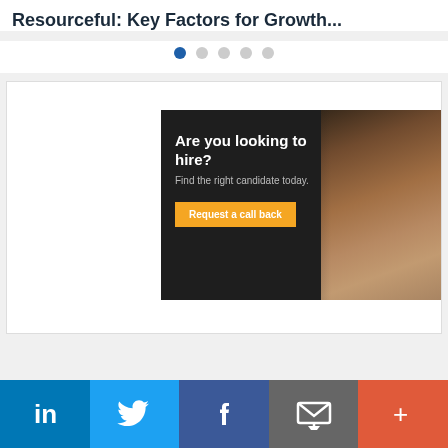Resourceful: Key Factors for Growth...
[Figure (other): Pagination dots: 5 dots with the first one filled/active in blue]
[Figure (infographic): Advertisement banner: dark background with a woman on phone. Text: Are you looking to hire? Find the right candidate today. Request a call back button in orange.]
Social share bar with LinkedIn, Twitter, Facebook, Email, and More (+) buttons